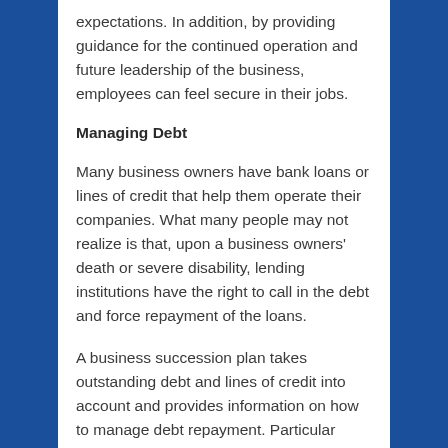expectations. In addition, by providing guidance for the continued operation and future leadership of the business, employees can feel secure in their jobs.
Managing Debt
Many business owners have bank loans or lines of credit that help them operate their companies. What many people may not realize is that, upon a business owners' death or severe disability, lending institutions have the right to call in the debt and force repayment of the loans.
A business succession plan takes outstanding debt and lines of credit into account and provides information on how to manage debt repayment. Particular funds or assets can be selected to repay loans and should be indicated in the business